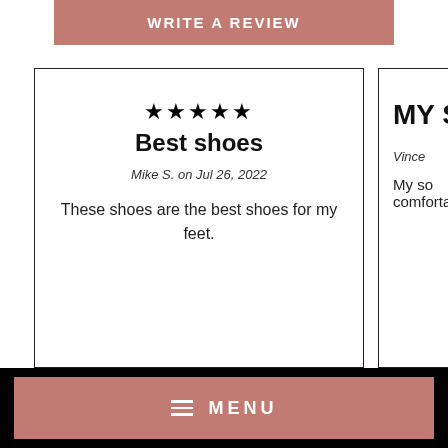WRITE A REVIEW
★★★★★
Best shoes
Mike S. on Jul 26, 2022
These shoes are the best shoes for my feet.
MY S
Vince
My so comforta
≡ MENU